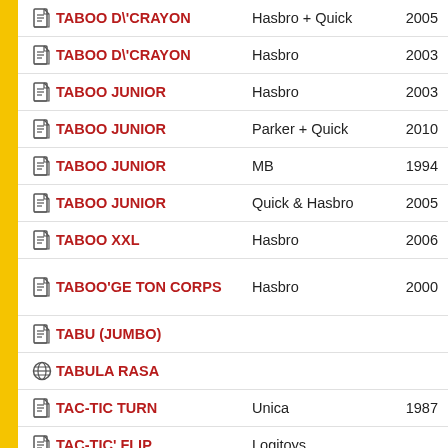TABOO D\'CRAYON | Hasbro + Quick | 2005
TABOO D\'CRAYON | Hasbro | 2003
TABOO JUNIOR | Hasbro | 2003
TABOO JUNIOR | Parker + Quick | 2010
TABOO JUNIOR | MB | 1994
TABOO JUNIOR | Quick & Hasbro | 2005
TABOO XXL | Hasbro | 2006
TABOO'GE TON CORPS | Hasbro | 2000
TABU (JUMBO)
TABULA RASA
TAC-TIC TURN | Unica | 1987
TAC-TIC' FLIP | Logitoys
TAC-CTIC DOM... | Pla...